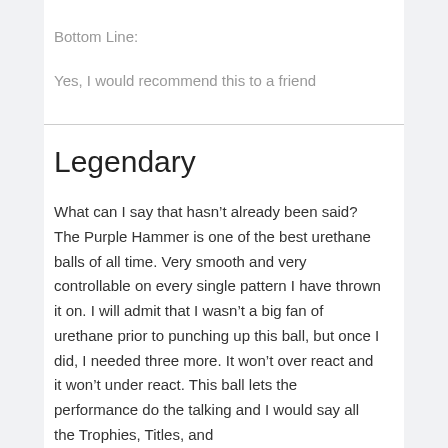Bottom Line:
Yes, I would recommend this to a friend
Legendary
What can I say that hasn't already been said? The Purple Hammer is one of the best urethane balls of all time. Very smooth and very controllable on every single pattern I have thrown it on. I will admit that I wasn't a big fan of urethane prior to punching up this ball, but once I did, I needed three more. It won't over react and it won't under react. This ball lets the performance do the talking and I would say all the Trophies, Titles, and